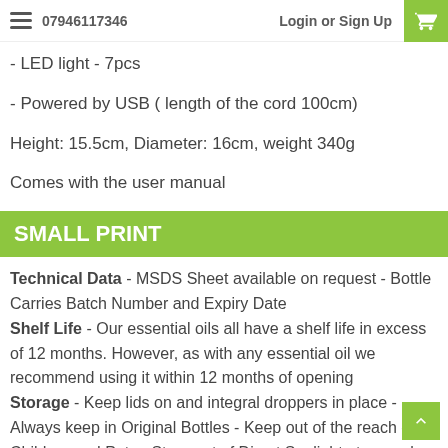07946117346   Login or Sign Up
- LED light - 7pcs
- Powered by USB ( length of the cord 100cm)
Height: 15.5cm, Diameter: 16cm, weight 340g
Comes with the user manual
SMALL PRINT
Technical Data - MSDS Sheet available on request - Bottle Carries Batch Number and Expiry Date
Shelf Life - Our essential oils all have a shelf life in excess of 12 months. However, as with any essential oil we recommend using it within 12 months of opening
Storage - Keep lids on and integral droppers in place - Always keep in Original Bottles - Keep out of the reach of Children and Pets - Store out of Direct Sunlight at normal room temperature